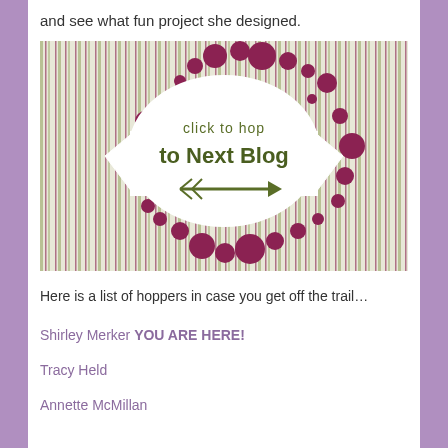and see what fun project she designed.
[Figure (illustration): Blog hop banner image with decorative stripes, polka dots in maroon/purple, a white ribbon banner with text 'click to hop to Next Blog' in olive/dark green, and an arrow pointing right.]
Here is a list of hoppers in case you get off the trail…
Shirley Merker YOU ARE HERE!
Tracy Held
Annette McMillan